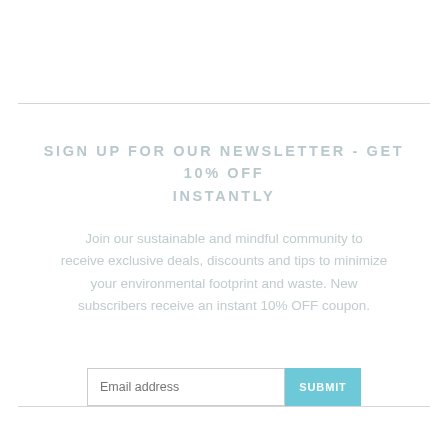SIGN UP FOR OUR NEWSLETTER - GET 10% OFF INSTANTLY
Join our sustainable and mindful community to receive exclusive deals, discounts and tips to minimize your environmental footprint and waste. New subscribers receive an instant 10% OFF coupon.
[Figure (other): Email address input field with placeholder text 'Email address' and a teal SUBMIT button]